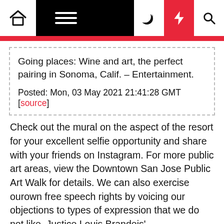[navbar: home icon, menu icon, dark mode, bolt/lightning, search]
Going places: Wine and art, the perfect pairing in Sonoma, Calif. – Entertainment.

Posted: Mon, 03 May 2021 21:41:28 GMT [source]
Check out the mural on the aspect of the resort for your excellent selfie opportunity and share with your friends on Instagram. For more public art areas, view the Downtown San Jose Public Art Walk for details. We can also exercise ourown free speech rights by voicing our objections to types of expression that we do not like. Justice Louis Brandeis' recommendation that the treatment for messages we disagree with or dislike in art, entertainment or politics is "more speech, not enforced silence," is as true right Art And Entertainment now because it was when given in 1927. The solely clear assertion that